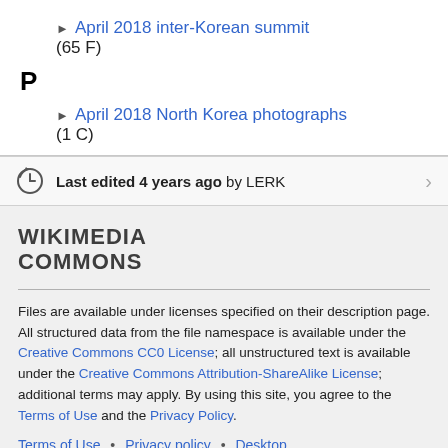▶ April 2018 inter-Korean summit (65 F)
P
▶ April 2018 North Korea photographs (1 C)
Last edited 4 years ago by LERK
WIKIMEDIA COMMONS
Files are available under licenses specified on their description page. All structured data from the file namespace is available under the Creative Commons CC0 License; all unstructured text is available under the Creative Commons Attribution-ShareAlike License; additional terms may apply. By using this site, you agree to the Terms of Use and the Privacy Policy.
Terms of Use • Privacy policy • Desktop